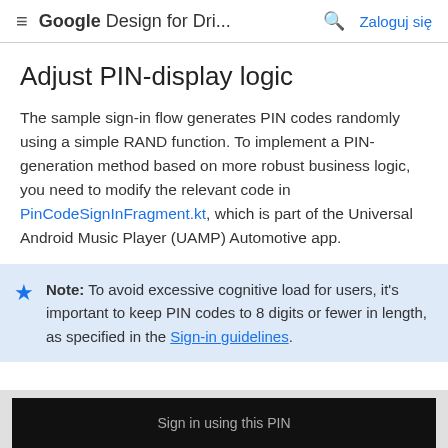≡ Google Design for Dri... 🔍 Zaloguj się
Adjust PIN-display logic
The sample sign-in flow generates PIN codes randomly using a simple RAND function. To implement a PIN-generation method based on more robust business logic, you need to modify the relevant code in PinCodeSignInFragment.kt, which is part of the Universal Android Music Player (UAMP) Automotive app.
Note: To avoid excessive cognitive load for users, it's important to keep PIN codes to 8 digits or fewer in length, as specified in the Sign-in guidelines.
[Figure (screenshot): A dark code box showing 'Sign in using this PIN' text at the bottom of the page]